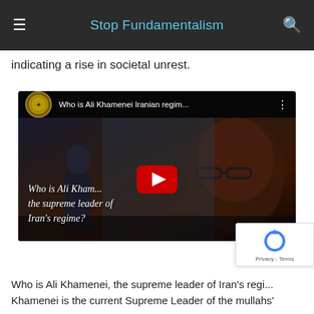Stop Fundamentalism
indicating a rise in societal unrest.
[Figure (screenshot): YouTube video embed titled 'Who is Ali Khamenei Iranian regim...' with a thumbnail showing Ali Khamenei and text overlay: 'Who is Ali Kham... the supreme leader of Iran's regime?' with a red play button in the center.]
Who is Ali Khamenei, the supreme leader of Iran's regi... Khamenei is the current Supreme Leader of the mullahs'